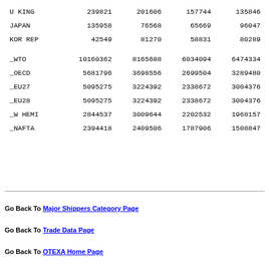| U KING | 239821 | 201606 | 157744 | 135846 |
| JAPAN | 135958 | 76568 | 65669 | 96047 |
| KOR REP | 42549 | 81270 | 58831 | 80289 |
| _WTO | 10160362 | 8165688 | 6034094 | 6474334 |
| _OECD | 5681796 | 3698556 | 2699504 | 3289480 |
| _EU27 | 5095275 | 3224392 | 2338672 | 3004376 |
| _EU28 | 5095275 | 3224392 | 2338672 | 3004376 |
| _W HEMI | 2844537 | 3009644 | 2202532 | 1968157 |
| _NAFTA | 2394418 | 2409506 | 1787906 | 1508847 |
Go Back To Major Shippers Category Page
Go Back To Trade Data Page
Go Back To OTEXA Home Page